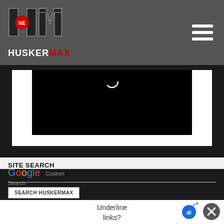[Figure (logo): HuskerMax logo - block letter H and M with Nebraska state outline in red, with HUSKERMAX text below where HUSKER is white and MAX is red]
[Figure (photo): Video player area showing a black screen with a loading/play indicator at the top]
SITE SEARCH
[Figure (logo): Google Custom Search logo]
SEARCH HUSKERMAX
Underline links?